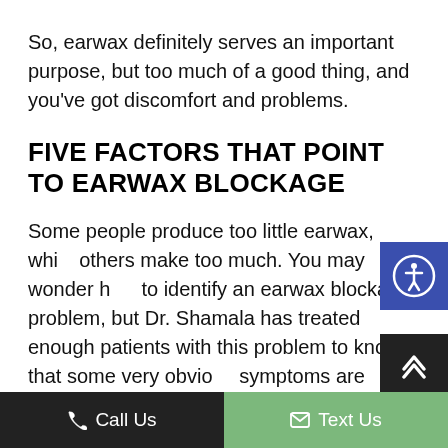So, earwax definitely serves an important purpose, but too much of a good thing, and you've got discomfort and problems.
FIVE FACTORS THAT POINT TO EARWAX BLOCKAGE
Some people produce too little earwax, while others make too much. You may wonder how to identify an earwax blockage problem, but Dr. Shamala has treated enough patients with this problem to know that some very obvious symptoms are indicators:
Call Us   Text Us